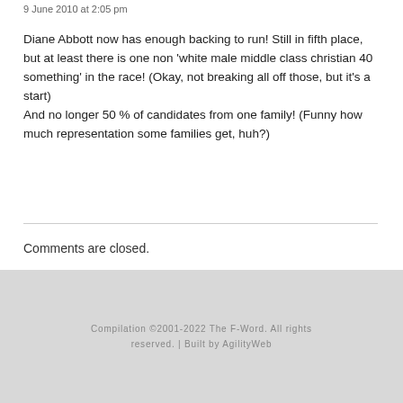9 June 2010 at 2:05 pm
Diane Abbott now has enough backing to run! Still in fifth place, but at least there is one non 'white male middle class christian 40 something' in the race! (Okay, not breaking all off those, but it's a start)
And no longer 50 % of candidates from one family! (Funny how much representation some families get, huh?)
Comments are closed.
Compilation ©2001-2022 The F-Word. All rights reserved. | Built by AgilityWeb